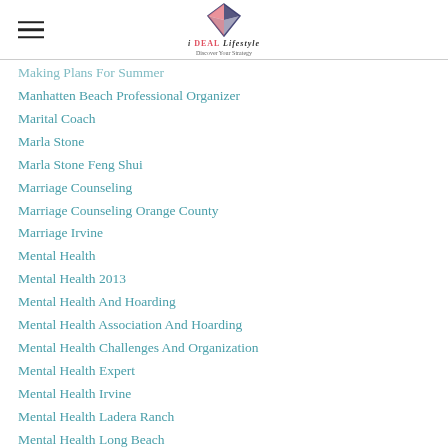iDEAL Lifestyle - Discover Your Strategy
Making Plans For Summer
Manhatten Beach Professional Organizer
Marital Coach
Marla Stone
Marla Stone Feng Shui
Marriage Counseling
Marriage Counseling Orange County
Marriage Irvine
Mental Health
Mental Health 2013
Mental Health And Hoarding
Mental Health Association And Hoarding
Mental Health Challenges And Organization
Mental Health Expert
Mental Health Irvine
Mental Health Ladera Ranch
Mental Health Long Beach
Mental Health Los Angeles